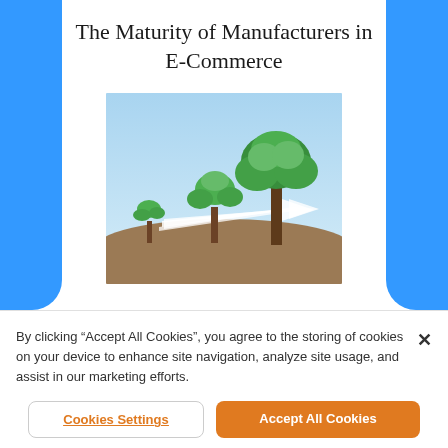The Maturity of Manufacturers in E-Commerce
[Figure (illustration): Three trees of increasing size (seedling, sapling, mature tree) growing from soil with a white arrow pointing right, set against a light blue sky background — representing growth maturity stages.]
By clicking “Accept All Cookies”, you agree to the storing of cookies on your device to enhance site navigation, analyze site usage, and assist in our marketing efforts.
Cookies Settings
Accept All Cookies